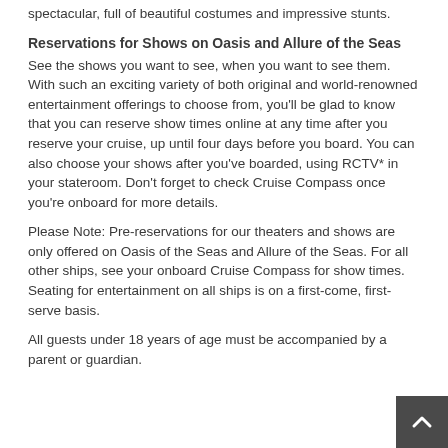spectacular, full of beautiful costumes and impressive stunts.
Reservations for Shows on Oasis and Allure of the Seas
See the shows you want to see, when you want to see them. With such an exciting variety of both original and world-renowned entertainment offerings to choose from, you'll be glad to know that you can reserve show times online at any time after you reserve your cruise, up until four days before you board. You can also choose your shows after you've boarded, using RCTV* in your stateroom. Don't forget to check Cruise Compass once you're onboard for more details.
Please Note: Pre-reservations for our theaters and shows are only offered on Oasis of the Seas and Allure of the Seas. For all other ships, see your onboard Cruise Compass for show times. Seating for entertainment on all ships is on a first-come, first-serve basis.
All guests under 18 years of age must be accompanied by a parent or guardian.